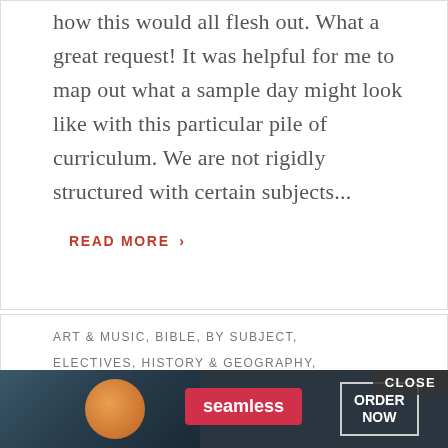how this would all flesh out. What a great request! It was helpful for me to map out what a sample day might look like with this particular pile of curriculum. We are not rigidly structured with certain subjects...
READ MORE ›
ART & MUSIC, BIBLE, BY SUBJECT, ELECTIVES, HISTORY & GEOGRAPHY, HOMESCHOOL, LANGUAGE ARTS, MATH, SCIENCE
[Figure (photo): Advertisement banner for Seamless food ordering service showing pizza image, Seamless logo in red, and ORDER NOW button. CLOSE button at top right.]